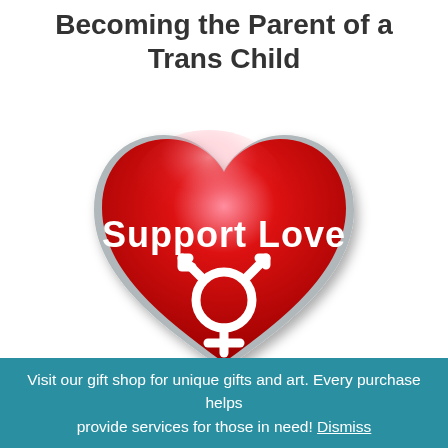Becoming the Parent of a Trans Child
[Figure (illustration): A glossy red 3D heart with silver/gray border. Inside the heart, white bold text reads 'Support Love' and below it a white transgender symbol (circle with cross below and two arrows on top, one curved and one straight).]
Visit our gift shop for unique gifts and art. Every purchase helps provide services for those in need! Dismiss